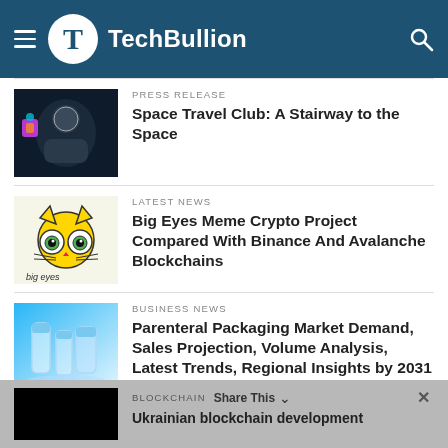TechBullion
[Figure (screenshot): Space-themed thumbnail with astronaut and colorful elements]
PRESS RELEASE
Space Travel Club: A Stairway to the Space
[Figure (illustration): Big Eyes meme crypto cat logo with big cartoon eyes]
LATEST NEWS
Big Eyes Meme Crypto Project Compared With Binance And Avalanche Blockchains
[Figure (photo): Blue-tinted pharmaceutical vials/bottles photo]
BUSINESS NEWS
Parenteral Packaging Market Demand, Sales Projection, Volume Analysis, Latest Trends, Regional Insights by 2031
[Figure (photo): Black thumbnail image]
BLOCKCHAIN
Ukrainian blockchain development